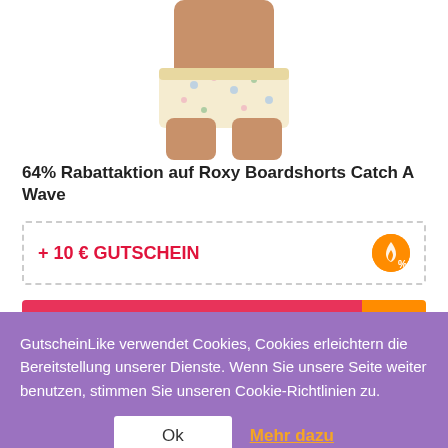[Figure (photo): Partial view of a person wearing floral Roxy Boardshorts Catch A Wave, showing waist and upper thighs only]
64% Rabattaktion auf Roxy Boardshorts Catch A Wave
+ 10 € GUTSCHEIN
Gutschein jetzt einlösen
[Figure (logo): jm walking logo in italic monospace font]
63% sparen
GutscheinLike verwendet Cookies, Cookies erleichtern die Bereitstellung unserer Dienste. Wenn Sie unsere Seite weiter benutzen, stimmen Sie unseren Cookie-Richtlinien zu.
Ok
Mehr dazu